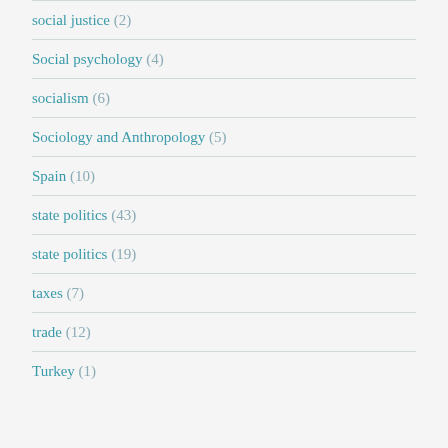social justice (2)
Social psychology (4)
socialism (6)
Sociology and Anthropology (5)
Spain (10)
state politics (43)
state politics (19)
taxes (7)
trade (12)
Turkey (1)